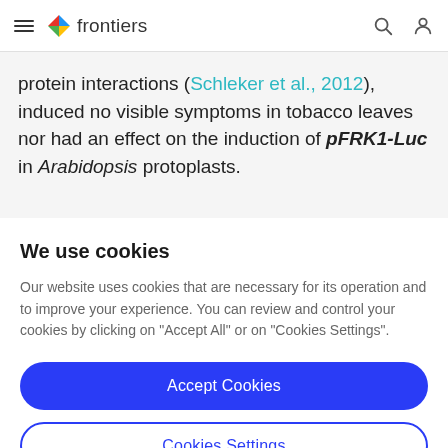frontiers
protein interactions (Schleker et al., 2012), induced no visible symptoms in tobacco leaves nor had an effect on the induction of pFRK1-Luc in Arabidopsis protoplasts.
We use cookies
Our website uses cookies that are necessary for its operation and to improve your experience. You can review and control your cookies by clicking on "Accept All" or on "Cookies Settings".
Accept Cookies
Cookies Settings